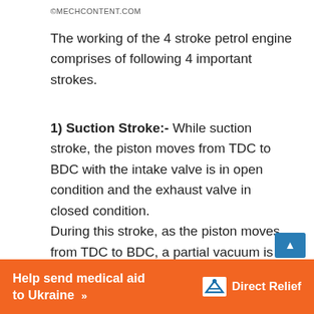©MECHCONTENT.COM
The working of the 4 stroke petrol engine comprises of following 4 important strokes.
1) Suction Stroke:- While suction stroke, the piston moves from TDC to BDC with the intake valve is in open condition and the exhaust valve in closed condition.
During this stroke, as the piston moves from TDC to BDC, a partial vacuum is created inside a cylinder that helps to suck (pull) the air-fuel mixture from the intake manifold into the cylinder.
At the end of the suction stroke when the piston
Help send medical aid to Ukraine >>